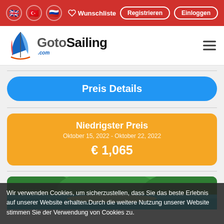Navigation bar with language flags, Wunschliste, Registrieren, Einloggen
[Figure (logo): GotoSailing.com logo with blue sail icon]
Preis Details
Niedrigster Preis
Oktober 15, 2022 - Oktober 22, 2022
€ 1,065
[Figure (photo): Aerial photo of a bay with turquoise water, beach and green hills]
Wir verwenden Cookies, um sicherzustellen, dass Sie das beste Erlebnis auf unserer Website erhalten.Durch die weitere Nutzung unserer Website stimmen Sie der Verwendung von Cookies zu.